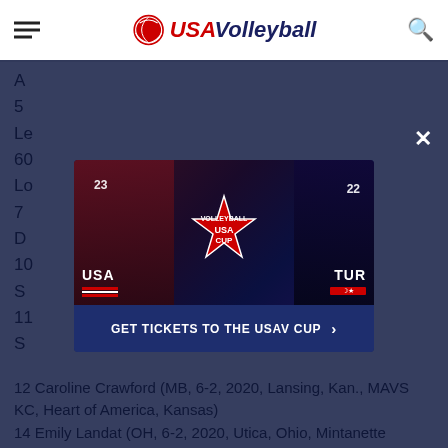USA Volleyball
[Figure (screenshot): USA Volleyball Cup promotional advertisement showing two volleyball players (USA #23 and TUR #22) flanking the USA Volleyball Cup logo. Text: USA vs TUR with respective flags.]
GET TICKETS TO THE USAV CUP >
12 Caroline Crawford (MB, 6-2, 2020, Lansing, Kan., MAVS KC, Heart of America, Kansas)
14 Emily Landat (OH, 6-2, 2020, Utica, Ohio, Mintanette